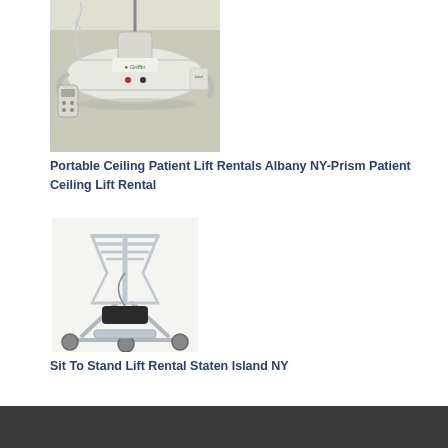[Figure (photo): Portable ceiling patient lift device hanging from ceiling track, white curved body with Griffin branding, coiled cord and controller]
Portable Ceiling Patient Lift Rentals Albany NY-Prism Patient Ceiling Lift Rental
[Figure (photo): Sit to stand lift device, silver metal frame with wheeled base, padded knee support, and grab handles at top]
Sit To Stand Lift Rental Staten Island NY